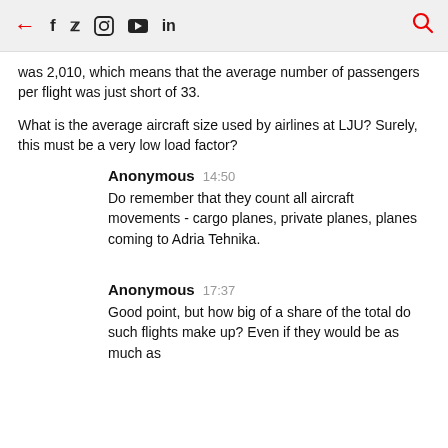← f 𝕎 Instagram YouTube in 🔍
was 2,010, which means that the average number of passengers per flight was just short of 33.
What is the average aircraft size used by airlines at LJU? Surely, this must be a very low load factor?
Anonymous 14:50
Do remember that they count all aircraft movements - cargo planes, private planes, planes coming to Adria Tehnika.
Anonymous 17:37
Good point, but how big of a share of the total do such flights make up? Even if they would be as much as